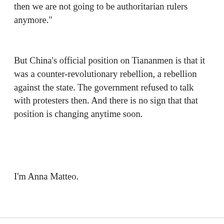then we are not going to be authoritarian rulers anymore."
But China's official position on Tiananmen is that it was a counter-revolutionary rebellion, a rebellion against the state. The government refused to talk with protesters then. And there is no sign that that position is changing anytime soon.
I'm Anna Matteo.